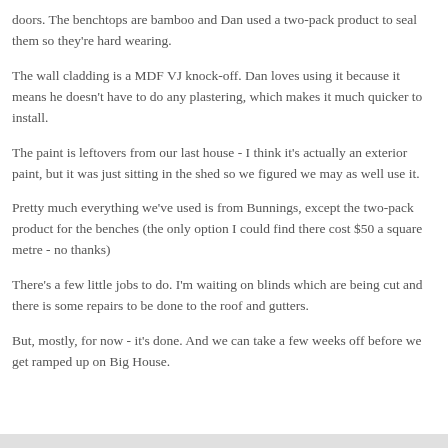doors. The benchtops are bamboo and Dan used a two-pack product to seal them so they're hard wearing.
The wall cladding is a MDF VJ knock-off. Dan loves using it because it means he doesn't have to do any plastering, which makes it much quicker to install.
The paint is leftovers from our last house - I think it's actually an exterior paint, but it was just sitting in the shed so we figured we may as well use it.
Pretty much everything we've used is from Bunnings, except the two-pack product for the benches (the only option I could find there cost $50 a square metre - no thanks)
There's a few little jobs to do. I'm waiting on blinds which are being cut and there is some repairs to be done to the roof and gutters.
But, mostly, for now - it's done. And we can take a few weeks off before we get ramped up on Big House.